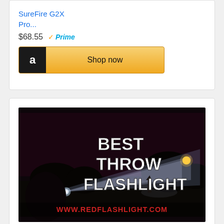[Figure (screenshot): Amazon product listing for SureFire G2X Pro showing price $68.55 with Prime badge and Shop now button]
[Figure (photo): Best Throw Flashlight promotional image showing a flashlight beam in the dark with text BEST THROW FLASHLIGHT and www.redflashlight.com at the bottom]
[Figure (photo): Rechargeable flashlight promotional image - partially visible, showing top portion with RECHARGEABLE text]